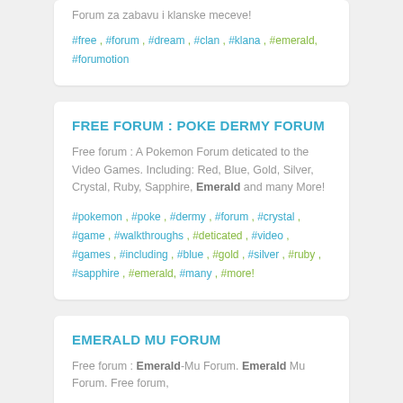Forum za zabavu i klanske meceve!
#free , #forum , #dream , #clan , #klana , #emerald, #forumotion
FREE FORUM : POKE DERMY FORUM
Free forum : A Pokemon Forum deticated to the Video Games. Including: Red, Blue, Gold, Silver, Crystal, Ruby, Sapphire, Emerald and many More!
#pokemon , #poke , #dermy , #forum , #crystal , #game , #walkthroughs , #deticated , #video , #games , #including , #blue , #gold , #silver , #ruby , #sapphire , #emerald, #many , #more!
EMERALD MU FORUM
Free forum : Emerald-Mu Forum. Emerald Mu Forum. Free forum,